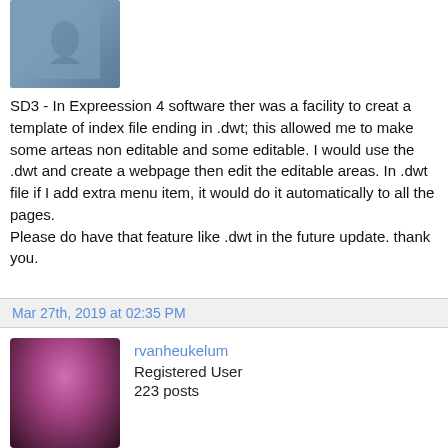[Figure (photo): Partial avatar image at top, showing blue/teal colored fabric or textile with a figure]
SD3 - In Expreession 4 software ther was a facility to creat a template of index file ending in .dwt; this allowed me to make some arteas non editable and some editable. I would use the .dwt and create a webpage then edit the editable areas. In .dwt file if I add extra menu item, it would do it automatically to all the pages.
Please do have that feature like .dwt in the future update. thank you.
Mar 27th, 2019 at 02:35 PM
[Figure (photo): User avatar photo of a man with short hair, dark clothing, magenta/pink toned photo]
rvanheukelum
Registered User
223 posts